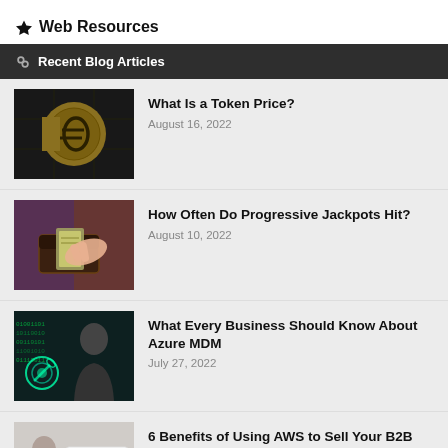Web Resources
Recent Blog Articles
What Is a Token Price? | August 16, 2022
How Often Do Progressive Jackpots Hit? | August 10, 2022
What Every Business Should Know About Azure MDM | July 27, 2022
6 Benefits of Using AWS to Sell Your B2B Products